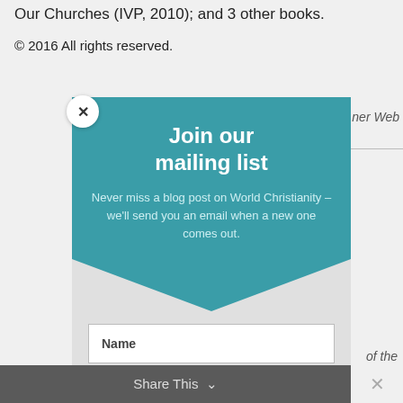Our Churches (IVP, 2010), and 3 other books.
© 2016 All rights reserved.
ner Web
[Figure (screenshot): Modal popup dialog for mailing list subscription with teal background, featuring title 'Join our mailing list', descriptive text, Name and Email input fields, and a Subscribe button]
Join our mailing list
Never miss a blog post on World Christianity – we'll send you an email when a new one comes out.
Name
Email
Subscribe
beauty
an-skin-
9.html>.
of the
Share This ∨